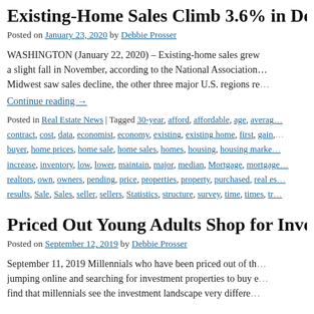Existing-Home Sales Climb 3.6% in Dece…
Posted on January 23, 2020 by Debbie Prosser
WASHINGTON (January 22, 2020) – Existing-home sales grew… a slight fall in November, according to the National Association… Midwest saw sales decline, the other three major U.S. regions re…
Continue reading →
Posted in Real Estate News | Tagged 30-year, afford, affordable, age, average, contract, cost, data, economist, economy, existing, existing home, first, gain, buyer, home prices, home sale, home sales, homes, housing, housing market, increase, inventory, low, lower, maintain, major, median, Mortgage, mortgage, realtors, own, owners, pending, price, properties, property, purchased, real estate, results, Sale, Sales, seller, sellers, Statistics, structure, survey, time, times, tr…
Priced Out Young Adults Shop for Invest…
Posted on September 12, 2019 by Debbie Prosser
September 11, 2019 Millennials who have been priced out of th… jumping online and searching for investment properties to buy e… find that millennials see the investment landscape very differe…